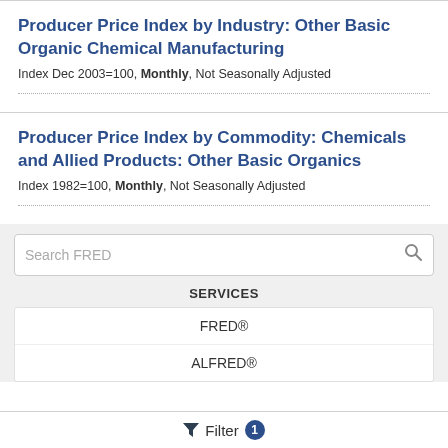Producer Price Index by Industry: Other Basic Organic Chemical Manufacturing
Index Dec 2003=100, Monthly, Not Seasonally Adjusted
Producer Price Index by Commodity: Chemicals and Allied Products: Other Basic Organics
Index 1982=100, Monthly, Not Seasonally Adjusted
SERVICES
FRED®
ALFRED®
Filter 1